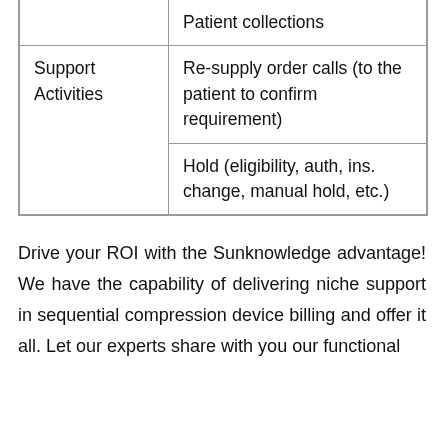|  | Patient collections |
| Support Activities | Re-supply order calls (to the patient to confirm requirement) |
|  | Hold (eligibility, auth, ins. change, manual hold, etc.) |
Drive your ROI with the Sunknowledge advantage! We have the capability of delivering niche support in sequential compression device billing and offer it all. Let our experts share with you our functional